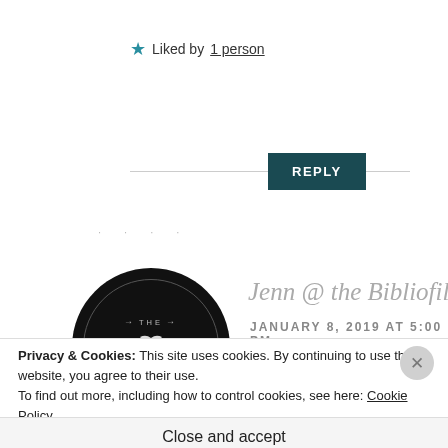★ Liked by 1 person
REPLY
· · · ·
[Figure (logo): Circular black logo with 'THE BIBLIOFILE' text and a bird illustration]
Jenn @ the Bibliofile
JANUARY 8, 2019 AT 5:00 PM
Privacy & Cookies: This site uses cookies. By continuing to use this website, you agree to their use.
To find out more, including how to control cookies, see here: Cookie Policy
Close and accept